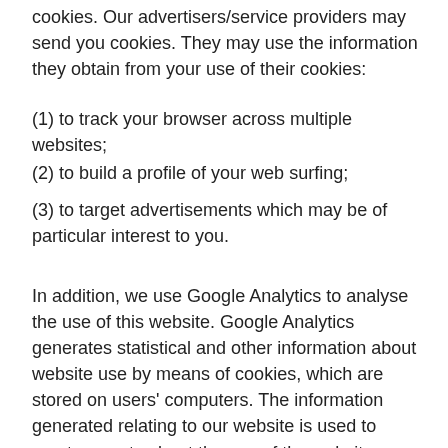cookies. Our advertisers/service providers may send you cookies. They may use the information they obtain from your use of their cookies:
(1) to track your browser across multiple websites;
(2) to build a profile of your web surfing;
(3) to target advertisements which may be of particular interest to you.
In addition, we use Google Analytics to analyse the use of this website. Google Analytics generates statistical and other information about website use by means of cookies, which are stored on users' computers. The information generated relating to our website is used to create reports about the use of the website. Google will store this information. Google's privacy policy is available at:http://www.google.com/privacypolicy.html.